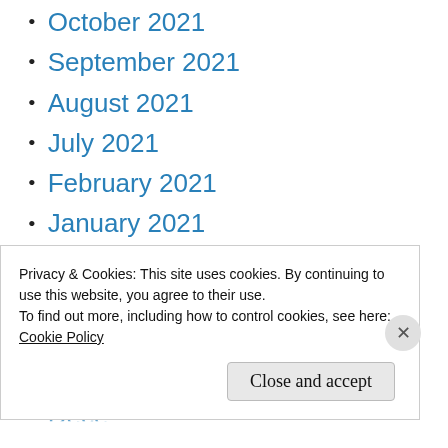October 2021
September 2021
August 2021
July 2021
February 2021
January 2021
October 2020
August 2020
July 2020
April 2019
Privacy & Cookies: This site uses cookies. By continuing to use this website, you agree to their use. To find out more, including how to control cookies, see here: Cookie Policy
Close and accept